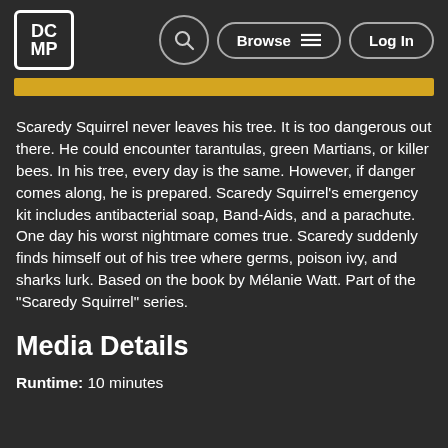DCMP | Browse | Log In
Scaredy Squirrel never leaves his tree. It is too dangerous out there. He could encounter tarantulas, green Martians, or killer bees. In his tree, every day is the same. However, if danger comes along, he is prepared. Scaredy Squirrel's emergency kit includes antibacterial soap, Band-Aids, and a parachute. One day his worst nightmare comes true. Scaredy suddenly finds himself out of his tree where germs, poison ivy, and sharks lurk. Based on the book by Mélanie Watt. Part of the "Scaredy Squirrel" series.
Media Details
Runtime: 10 minutes